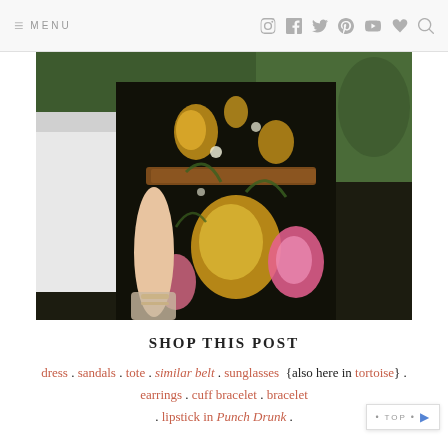≡ MENU [instagram] [facebook] [twitter] [pinterest] [youtube] [heart] [search]
[Figure (photo): Close-up photo of a woman wearing a black floral maxi dress with yellow, pink, and white flowers, a brown woven belt, gold bracelets, holding a nude/beige tote bag. Background shows greenery and a white wall.]
SHOP THIS POST
dress . sandals . tote . similar belt . sunglasses {also here in tortoise} . earrings . cuff bracelet . bracelet . lipstick in Punch Drunk .